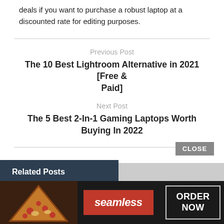deals if you want to purchase a robust laptop at a discounted rate for editing purposes.
Previous Post
The 10 Best Lightroom Alternative in 2021 [Free & Paid]
Next Post
The 5 Best 2-In-1 Gaming Laptops Worth Buying In 2022
Related Posts
[Figure (other): Seamless food delivery advertisement banner showing pizza image, Seamless logo, and ORDER NOW button with CLOSE option]